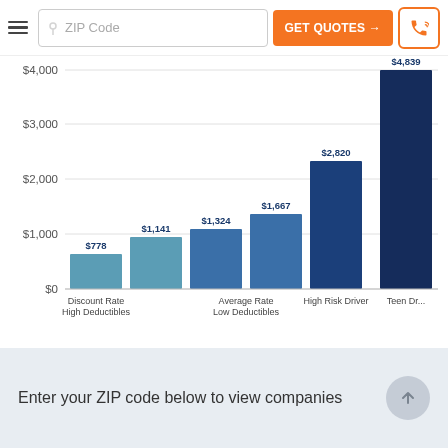[Figure (bar-chart): Auto Insurance Rates by Driver Type]
Enter your ZIP code below to view companies